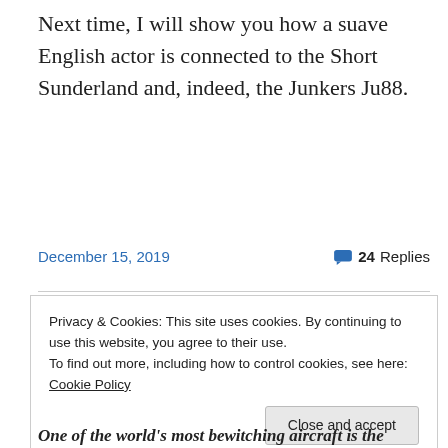Next time, I will show you how a suave English actor is connected to the Short Sunderland and, indeed, the Junkers Ju88.
December 15, 2019   💬 24 Replies
Privacy & Cookies: This site uses cookies. By continuing to use this website, you agree to their use.
To find out more, including how to control cookies, see here: Cookie Policy
Close and accept
One of the world's most bewitching aircraft is the